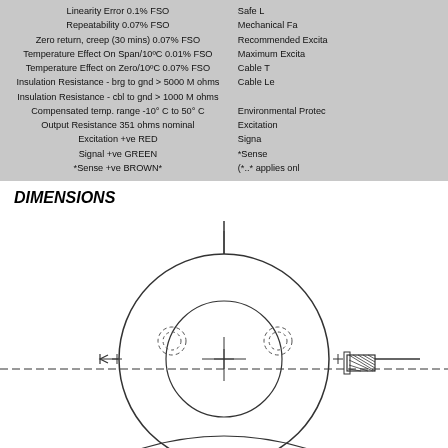Linearity Error 0.1% FSO | Repeatability 0.07% FSO | Zero return, creep (30 mins) 0.07% FSO | Temperature Effect On Span/10ºC 0.01% FSO | Temperature Effect on Zero/10ºC 0.07% FSO | Insulation Resistance - brg to gnd > 5000 M ohms | Insulation Resistance - cbl to gnd > 1000 M ohms | Compensated temp. range -10° C to 50° C | Output Resistance 351 ohms nominal | Excitation +ve RED | Signal +ve GREEN | *Sense +ve BROWN*
Safe L... | Mechanical Fa... | Recommended Excita... | Maximum Excita... | Cable T... | Cable Le... | Environmental Protec... | Excitation... | Signa... | *Sense... | (*..* applies onl...
DIMENSIONS
[Figure (engineering-diagram): Top-view engineering drawing of a circular load cell with center crosshairs, two mounting holes shown as dashed circles, a central bore with crosshairs, and a cable connector on the right side. A dashed horizontal centerline extends left and right.]